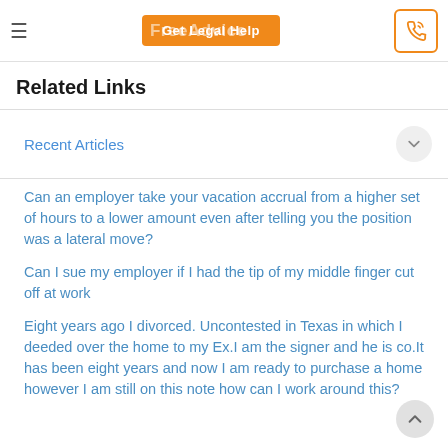≡  Get Legal Help  FreeAdvice  [phone icon]
Related Links
Recent Articles
Can an employer take your vacation accrual from a higher set of hours to a lower amount even after telling you the position was a lateral move?
Can I sue my employer if I had the tip of my middle finger cut off at work
Eight years ago I divorced. Uncontested in Texas in which I deeded over the home to my Ex.I am the signer and he is co.It has been eight years and now I am ready to purchase a home however I am still on this note how can I work around this?